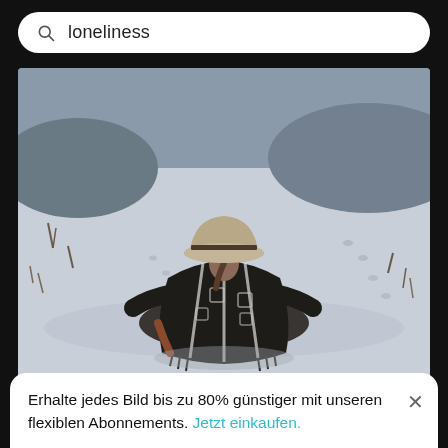loneliness
[Figure (photo): Person sitting in a snowy desert landscape, viewed from behind, wearing a dark striped poncho/blanket and a tan wide-brim hat, with footprints visible in the white sand/snow around them.]
Person sitting in a desert
Erhalte jedes Bild bis zu 80% günstiger mit unseren flexiblen Abonnements. Jetzt einkaufen.